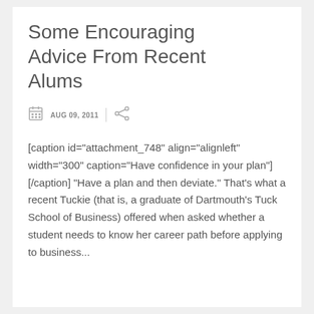Some Encouraging Advice From Recent Alums
AUG 09, 2011
[caption id="attachment_748" align="alignleft" width="300" caption="Have confidence in your plan"] [/caption] "Have a plan and then deviate." That's what a recent Tuckie (that is, a graduate of Dartmouth's Tuck School of Business) offered when asked whether a student needs to know her career path before applying to business...